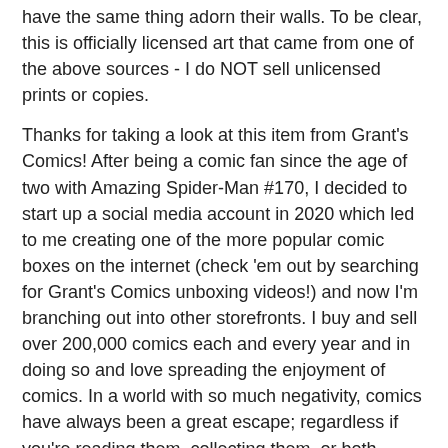have the same thing adorn their walls. To be clear, this is officially licensed art that came from one of the above sources - I do NOT sell unlicensed prints or copies.
Thanks for taking a look at this item from Grant's Comics! After being a comic fan since the age of two with Amazing Spider-Man #170, I decided to start up a social media account in 2020 which led to me creating one of the more popular comic boxes on the internet (check 'em out by searching for Grant's Comics unboxing videos!) and now I'm branching out into other storefronts. I buy and sell over 200,000 comics each and every year and in doing so and love spreading the enjoyment of comics. In a world with so much negativity, comics have always been a great escape; regardless if you're reading them, collecting them, or both. Please check out my other listings and don't hesitate to ask any questions!
Sku #Jscmre
[Figure (other): Pinterest PIN IT button with Pinterest logo icon]